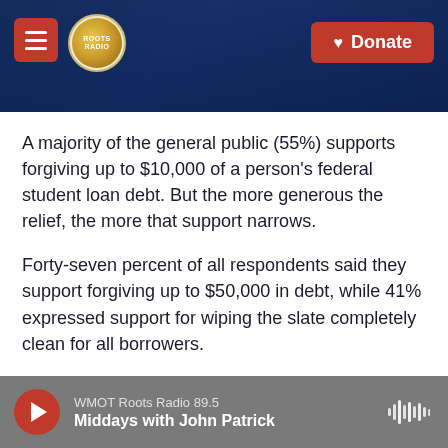Roots Radio | Donate
A majority of the general public (55%) supports forgiving up to $10,000 of a person's federal student loan debt. But the more generous the relief, the more that support narrows.
Forty-seven percent of all respondents said they support forgiving up to $50,000 in debt, while 41% expressed support for wiping the slate completely clean for all borrowers.
Support for debt relief was, not surprisingly, far higher among borrowers themselves.
WMOT Roots Radio 89.5 | Middays with John Patrick